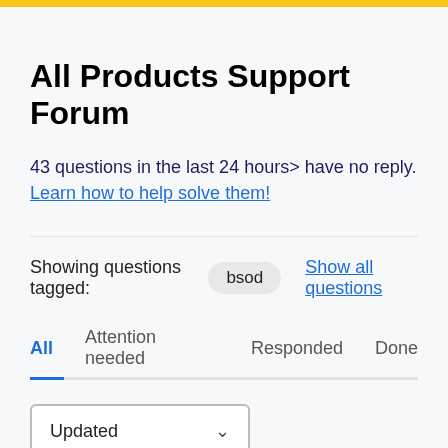All Products Support Forum
43 questions in the last 24 hours> have no reply. Learn how to help solve them!
Showing questions tagged: bsod   Show all questions
All   Attention needed   Responded   Done
Updated